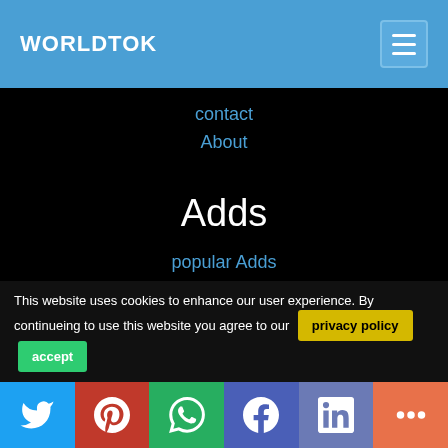WORLDTOK
contact
About
Adds
popular Adds
Start selling
User
Register
This website uses cookies to enhance our user experience. By continueing to use this website you agree to our privacy policy accept
[Figure (other): Social media share bar with Twitter, Pinterest, WhatsApp, Facebook, LinkedIn, and More icons]